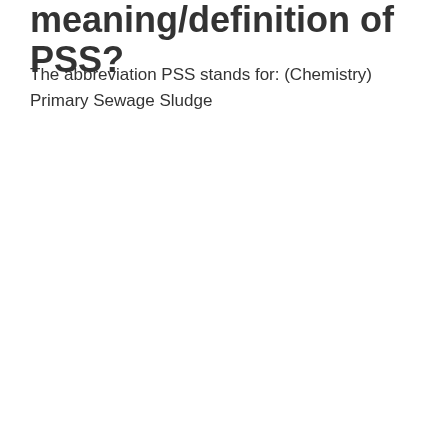meaning/definition of PSS?
The abbreviation PSS stands for: (Chemistry) Primary Sewage Sludge